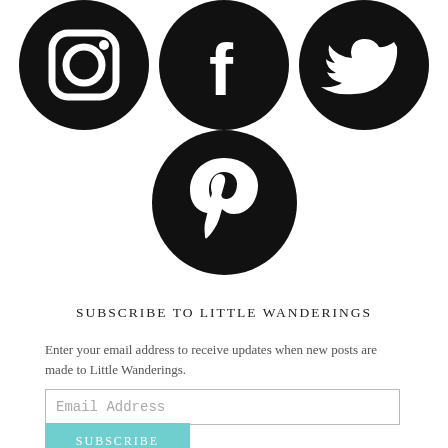[Figure (illustration): Three black circular social media icons: Instagram, Facebook, Twitter (partially cropped at top)]
[Figure (illustration): Black circular Pinterest icon]
SUBSCRIBE TO LITTLE WANDERINGS
Enter your email address to receive updates when new posts are made to Little Wanderings.
Email Address
SUBSCRIBE